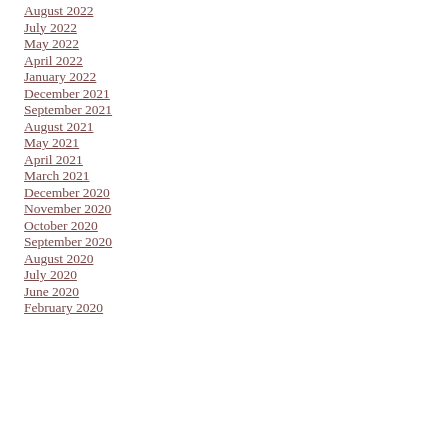August 2022
July 2022
May 2022
April 2022
January 2022
December 2021
September 2021
August 2021
May 2021
April 2021
March 2021
December 2020
November 2020
October 2020
September 2020
August 2020
July 2020
June 2020
February 2020